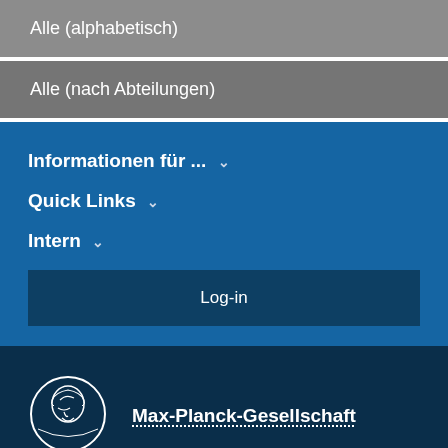Alle (alphabetisch)
Alle (nach Abteilungen)
Informationen für ...
Quick Links
Intern
Log-in
Max-Planck-Gesellschaft